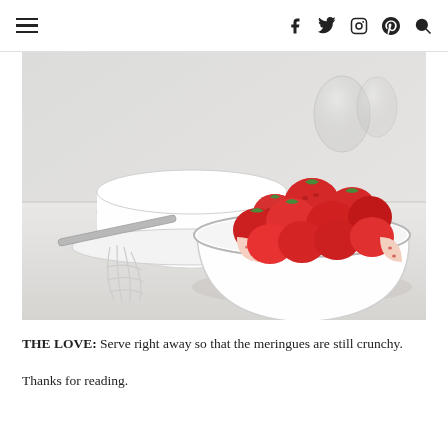≡  f  twitter  instagram  pinterest  search
[Figure (photo): A white bowl filled with fresh cut strawberries, a whisk and a white bowl in the background on a light surface, soft blurred glassware visible in the upper right.]
THE LOVE: Serve right away so that the meringues are still crunchy.
Thanks for reading.